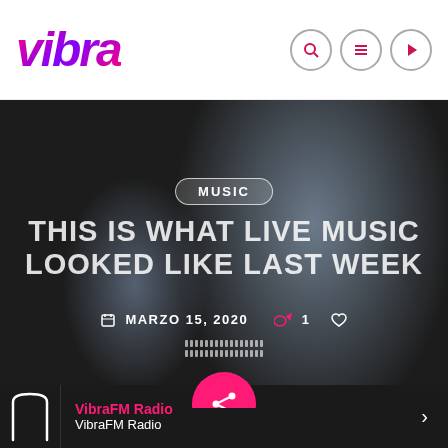[Figure (logo): Vibra radio logo in italic bold font with pink/purple gradient and yellow shadow]
[Figure (illustration): Navigation icons: search, menu, play button in circles]
[Figure (photo): Dark gym background photo with person on treadmill]
MUSIC
THIS IS WHAT LIVE MUSIC LOOKED LIKE LAST WEEK
MARZO 15, 2020  1
[Figure (illustration): Pink share button circle with share icon]
VibraFM Radio
VibraFM Radio